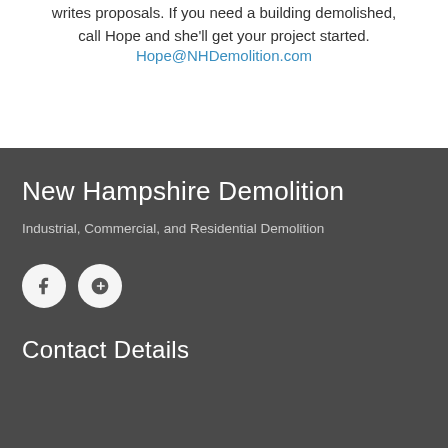writes proposals. If you need a building demolished, call Hope and she'll get your project started.
Hope@NHDemolition.com
New Hampshire Demolition
Industrial, Commercial, and Residential Demolition
[Figure (other): Facebook and Google+ social media icon circles]
Contact Details